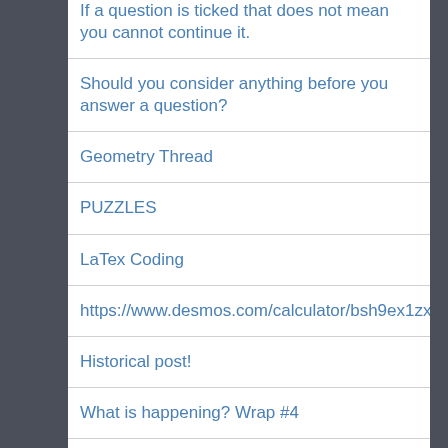If a question is ticked that does not mean you cannot continue it.
Should you consider anything before you answer a question?
Geometry Thread
PUZZLES
LaTex Coding
https://www.desmos.com/calculator/bsh9ex1zxj
Historical post!
What is happening? Wrap #4
Great Questions to Learn From 2